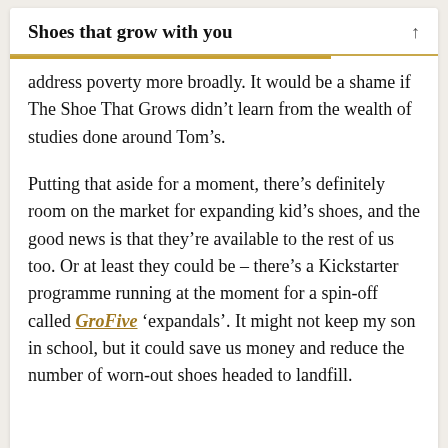Shoes that grow with you
address poverty more broadly. It would be a shame if The Shoe That Grows didn’t learn from the wealth of studies done around Tom’s.
Putting that aside for a moment, there’s definitely room on the market for expanding kid’s shoes, and the good news is that they’re available to the rest of us too. Or at least they could be – there’s a Kickstarter programme running at the moment for a spin-off called GroFive ‘expandals’. It might not keep my son in school, but it could save us money and reduce the number of worn-out shoes headed to landfill.